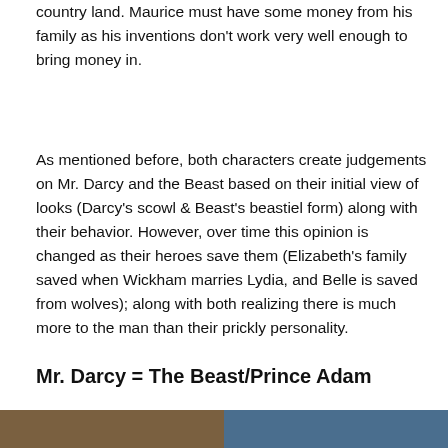country land. Maurice must have some money from his family as his inventions don't work very well enough to bring money in.
As mentioned before, both characters create judgements on Mr. Darcy and the Beast based on their initial view of looks (Darcy's scowl & Beast's beastiel form) along with their behavior. However, over time this opinion is changed as their heroes save them (Elizabeth's family saved when Wickham marries Lydia, and Belle is saved from wolves); along with both realizing there is much more to the man than their prickly personality.
Mr. Darcy = The Beast/Prince Adam
[Figure (photo): Two side-by-side photos: left shows a person with curly hair in period costume (likely Mr. Darcy), right shows an animated character (Beast/Prince Adam from Beauty and the Beast)]